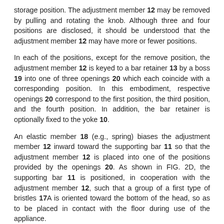storage position. The adjustment member 12 may be removed by pulling and rotating the knob. Although three and four positions are disclosed, it should be understood that the adjustment member 12 may have more or fewer positions.
In each of the positions, except for the remove position, the adjustment member 12 is keyed to a bar retainer 13 by a boss 19 into one of three openings 20 which each coincide with a corresponding position. In this embodiment, respective openings 20 correspond to the first position, the third position, and the fourth position. In addition, the bar retainer is optionally fixed to the yoke 10.
An elastic member 18 (e.g., spring) biases the adjustment member 12 inward toward the supporting bar 11 so that the adjustment member 12 is placed into one of the positions provided by the openings 20. As shown in FIG. 2D, the supporting bar 11 is positioned, in cooperation with the adjustment member 12, such that a group of a first type of bristles 17A is oriented toward the bottom of the head, so as to be placed in contact with the floor during use of the appliance.
In order to change positions, the adjustment member 12 is pulled away from the base 2 and rotated along the tracking rib 15 so that the desired opening 20 is aligned with the boss 19. By rotating the adjustment member 12, the group of the first type of bristles 17A is moved away from the bottom